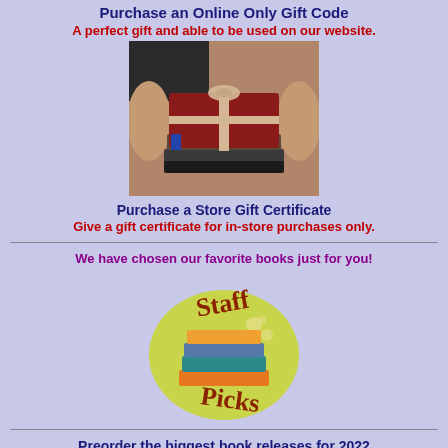Purchase an Online Only Gift Code
A perfect gift and able to be used on our website.
[Figure (photo): Hands holding a stack of books wrapped with a red cover and tied with twine ribbon]
Purchase a Store Gift Certificate
Give a gift certificate for in-store purchases only.
We have chosen our favorite books just for you!
[Figure (logo): Staff Picks logo with colorful stacked books on a yellow-green circular background]
Preorder the biggest book releases for 2022